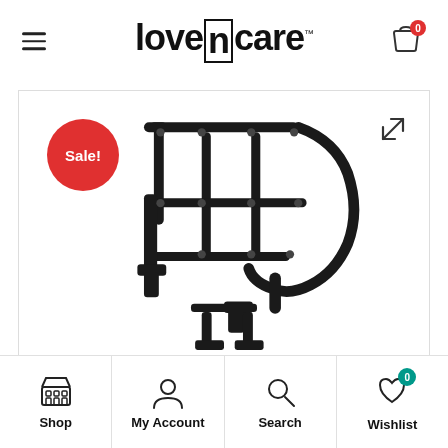[Figure (logo): Love n Care brand logo with hamburger menu on left and shopping cart with 0 badge on right]
[Figure (photo): Product photo of a black metal frame/carrier accessory (stroller adapter or similar) with a red Sale! badge in the top-left corner and an expand arrow icon in the top-right corner]
Shop | My Account | Search | Wishlist